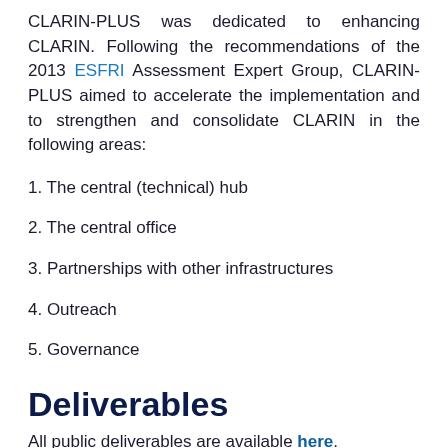CLARIN-PLUS was dedicated to enhancing CLARIN. Following the recommendations of the 2013 ESFRI Assessment Expert Group, CLARIN-PLUS aimed to accelerate the implementation and to strengthen and consolidate CLARIN in the following areas:
1. The central (technical) hub
2. The central office
3. Partnerships with other infrastructures
4. Outreach
5. Governance
Deliverables
All public deliverables are available here.
W...